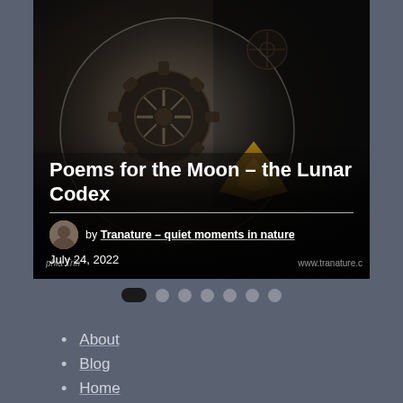[Figure (photo): Hero image of clockwork gears and mechanical components through a glass orb, dark background with bokeh, watermarked with 'Sophia Trin' and 'www.tranature.c']
Poems for the Moon – the Lunar Codex
by Tranature – quiet moments in nature
July 24, 2022
[Figure (infographic): Pagination dots navigation: 7 dots, first dot is pill-shaped and dark (active), remaining 6 are circular and gray]
About
Blog
Home
Privacy Policy
Publications